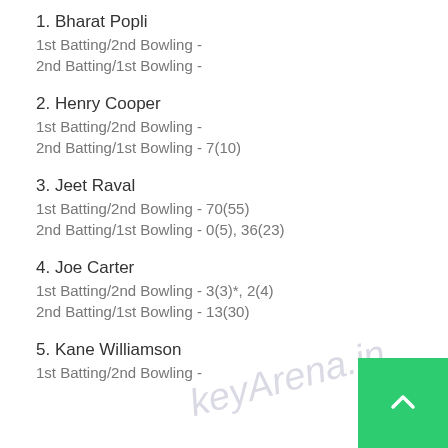1. Bharat Popli
1st Batting/2nd Bowling -
2nd Batting/1st Bowling -
2. Henry Cooper
1st Batting/2nd Bowling -
2nd Batting/1st Bowling - 7(10)
3. Jeet Raval
1st Batting/2nd Bowling - 70(55)
2nd Batting/1st Bowling - 0(5), 36(23)
4. Joe Carter
1st Batting/2nd Bowling - 3(3)*, 2(4)
2nd Batting/1st Bowling - 13(30)
5. Kane Williamson
1st Batting/2nd Bowling -